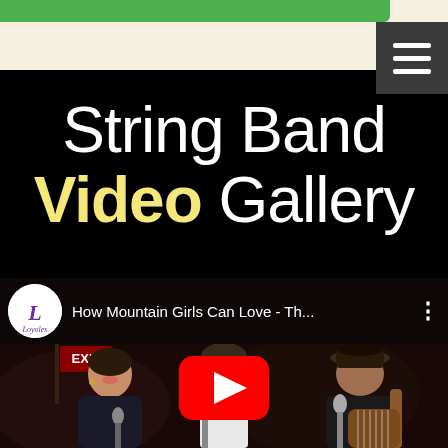String Band Video Gallery
String Band Video Gallery
[Figure (screenshot): YouTube video thumbnail showing three musicians performing on a dark stage. A woman on the left smiling, a man in the center singing into a microphone, and another person on the right wearing a hat and playing guitar. YouTube video title bar reads 'How Mountain Girls Can Love - Th...' with a Loyoles channel logo. A red YouTube play button is overlaid in the center of the video.]